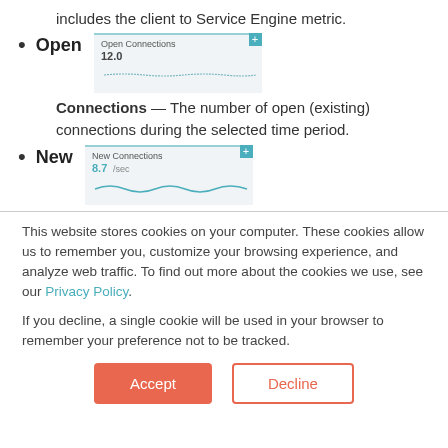includes the client to Service Engine metric.
Open Connections – The number of open (existing) connections during the selected time period.
[Figure (screenshot): Open Connections mini chart showing value 12.0 with a flat line graph on light background]
New Connections – (next item)
[Figure (screenshot): New Connections mini chart showing value 8.7 /sec with a wavy line graph on light background]
This website stores cookies on your computer. These cookies allow us to remember you, customize your browsing experience, and analyze web traffic. To find out more about the cookies we use, see our Privacy Policy.
If you decline, a single cookie will be used in your browser to remember your preference not to be tracked.